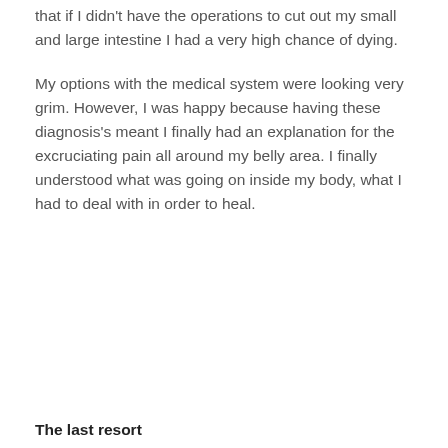that if I didn't have the operations to cut out my small and large intestine I had a very high chance of dying.
My options with the medical system were looking very grim. However, I was happy because having these diagnosis's meant I finally had an explanation for the excruciating pain all around my belly area. I finally understood what was going on inside my body, what I had to deal with in order to heal.
The last resort
For the next 1.5 years, I went on a liquid diet.